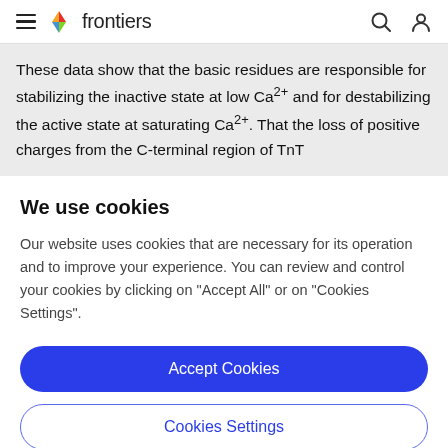frontiers
These data show that the basic residues are responsible for stabilizing the inactive state at low Ca2+ and for destabilizing the active state at saturating Ca2+. That the loss of positive charges from the C-terminal region of TnT
We use cookies
Our website uses cookies that are necessary for its operation and to improve your experience. You can review and control your cookies by clicking on "Accept All" or on "Cookies Settings".
Accept Cookies
Cookies Settings